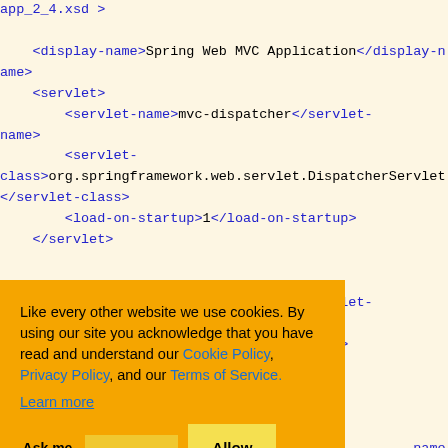app_2_4.xsd >
    <display-name>Spring Web MVC Application</display-name>
    <servlet>
        <servlet-name>mvc-dispatcher</servlet-name>
        <servlet-class>org.springframework.web.servlet.DispatcherServlet</servlet-class>
        <load-on-startup>1</load-on-startup>
    </servlet>
    r</servlet-
    (partially visible)
    -name>
    ispatcher-
    <listener>
[Figure (infographic): Cookie consent overlay with orange background. Text: 'Like every other website we use cookies. By using our site you acknowledge that you have read and understand our Cookie Policy, Privacy Policy, and our Terms of Service. Learn more'. Buttons: 'Ask me later', 'Decline', 'Allow cookies'.]